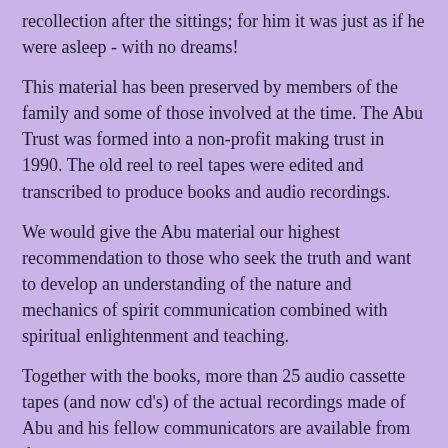recollection after the sittings; for him it was just as if he were asleep - with no dreams!
This material has been preserved by members of the family and some of those involved at the time. The Abu Trust was formed into a non-profit making trust in 1990. The old reel to reel tapes were edited and transcribed to produce books and audio recordings.
We would give the Abu material our highest recommendation to those who seek the truth and want to develop an understanding of the nature and mechanics of spirit communication combined with spiritual enlightenment and teaching.
Together with the books, more than 25 audio cassette tapes (and now cd's) of the actual recordings made of Abu and his fellow communicators are available from the trust.
For information and audio recording list, write (enclosing a stamp) to:
The Abu Trust
"Woodside"
Candie Road